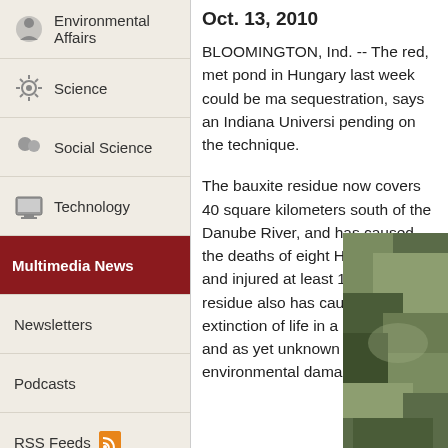Environmental Affairs
Science
Social Science
Technology
Multimedia News
Newsletters
Podcasts
RSS Feeds
Photos & Videos
Oct. 13, 2010
BLOOMINGTON, Ind. -- The red, met pond in Hungary last week could be ma sequestration, says an Indiana Universi pending on the technique.
The bauxite residue now covers 40 square kilometers south of the Danube River, and has caused the deaths of eight Hungarians and injured at least 150. The residue also has caused the extinction of life in a local river and as yet unknown environmental damage
[Figure (photo): Aerial photo showing red bauxite residue spread across landscape near the Danube River in Hungary]